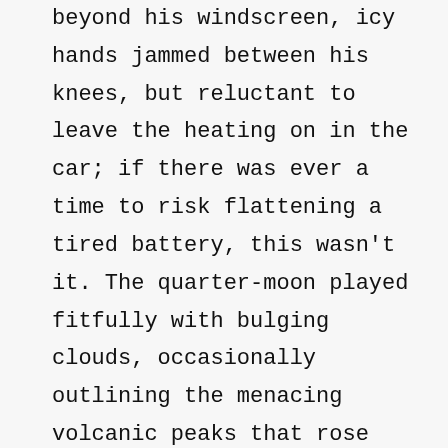beyond his windscreen, icy hands jammed between his knees, but reluctant to leave the heating on in the car; if there was ever a time to risk flattening a tired battery, this wasn't it. The quarter-moon played fitfully with bulging clouds, occasionally outlining the menacing volcanic peaks that rose all around, and the time dragged on, but still there was nothing else out there except the rain.
For the millionth time since he'd arrived, his glance was pulled to the tyre lever nestled in the semi-darkness of the passenger seat